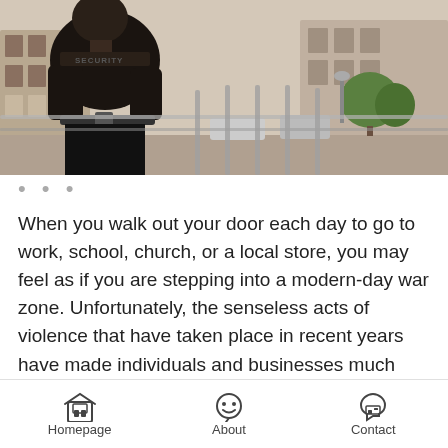[Figure (photo): A security guard in a dark jacket with 'SECURITY' text on the back, standing with arms crossed on a balcony/railing, with a street scene with buildings, parked cars, and trees in the background.]
• • •
When you walk out your door each day to go to work, school, church, or a local store, you may feel as if you are stepping into a modern-day war zone. Unfortunately, the senseless acts of violence that have taken place in recent years have made individuals and businesses much more aware of just how important private security companies can be in keeping people and places safe. However, many people still are not aware of the many benefits that can be gained from hiring a personal security company such as Ranger Guard. If you are
Homepage   About   Contact